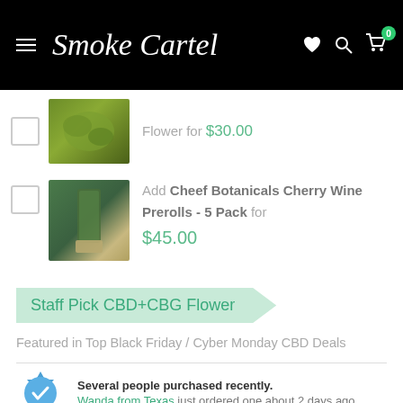Smoke Cartel
Flower for $30.00
Add Cheef Botanicals Cherry Wine Prerolls - 5 Pack for $45.00
Staff Pick CBD+CBG Flower
Featured in Top Black Friday / Cyber Monday CBD Deals
Several people purchased recently. Wanda from Texas just ordered one about 2 days ago.
Share for 5% Off